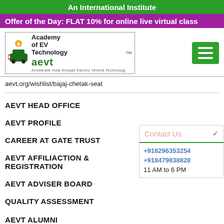An International Institute
Offer of the Day: FLAT 10% for online live virtual class
[Figure (logo): Academy of EV Technology (AEVT) logo with TM mark, showing electric car and charging icon]
aevt.org/wishlist/bajaj-chetak-seat
AEVT HEAD OFFICE
AEVT PROFILE
CAREER AT GATE TRUST
AEVT AFFILIACTION & REGISTRATION
AEVT ADVISER BOARD
QUALITY ASSESSMENT
AEVT ALUMNI
Contact Us
+918296353254
+918479838828
11 AM to 6 PM
Become Training Partner